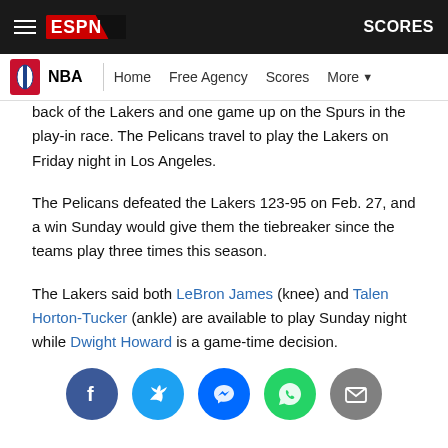ESPN — NBA | Home | Free Agency | Scores | More
back of the Lakers and one game up on the Spurs in the play-in race. The Pelicans travel to play the Lakers on Friday night in Los Angeles.
The Pelicans defeated the Lakers 123-95 on Feb. 27, and a win Sunday would give them the tiebreaker since the teams play three times this season.
The Lakers said both LeBron James (knee) and Talen Horton-Tucker (ankle) are available to play Sunday night while Dwight Howard is a game-time decision.
[Figure (infographic): Social share buttons: Facebook (dark blue circle), Twitter (light blue circle), Messenger (blue circle), WhatsApp (green circle), Email (grey circle)]